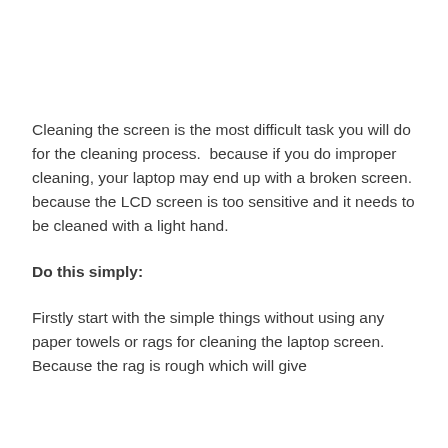Cleaning the screen is the most difficult task you will do for the cleaning process.  because if you do improper cleaning, your laptop may end up with a broken screen.  because the LCD screen is too sensitive and it needs to be cleaned with a light hand.
Do this simply:
Firstly start with the simple things without using any paper towels or rags for cleaning the laptop screen. Because the rag is rough which will give